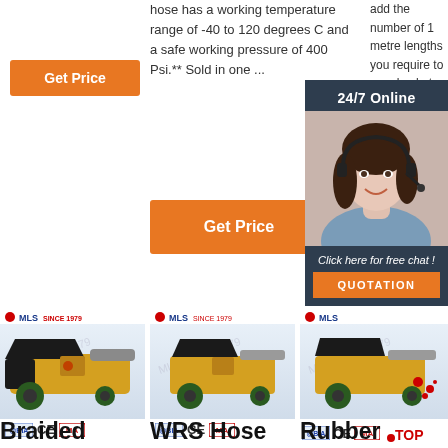[Figure (other): Orange 'Get Price' button, top left column]
hose has a working temperature range of -40 to 120 degrees C and a safe working pressure of 400 Psi.** Sold in one ...
add the number of 1 metre lengths you require to your basket.
[Figure (other): Orange 'Get Price' button, center column]
[Figure (photo): 24/7 Online chat overlay with woman wearing headset, dark background, 'Click here for free chat!' and orange QUOTATION button]
[Figure (photo): Yellow industrial concrete pump machine with product logo (MLS SINCE 1979), CE, MA certification badges - left product]
[Figure (photo): Yellow industrial concrete pump machine with product logo (MLS SINCE 1979), CE, MA certification badges - center product]
[Figure (photo): Yellow industrial concrete pump machine with product logo (MLS SINCE 1979), CE, MA certification badges - right product, with TOP badge]
Braided
WRS Hose
Rubber